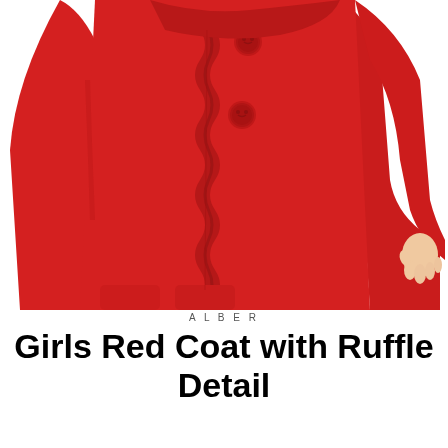[Figure (photo): Close-up photo of a child wearing a bright red coat with ruffle detail running down the front button placket. Two red buttons are visible at the top. The child's right hand is visible at the lower right. The background is white.]
ALBER
Girls Red Coat with Ruffle Detail